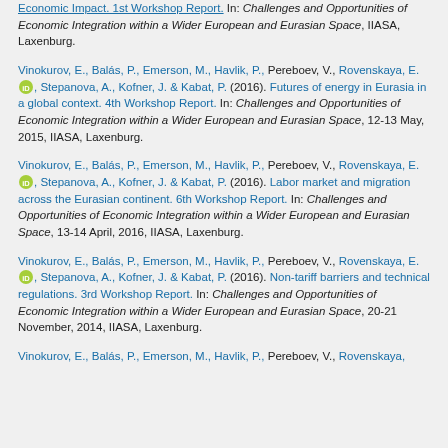Economic Impact. 1st Workshop Report. In: Challenges and Opportunities of Economic Integration within a Wider European and Eurasian Space, IIASA, Laxenburg.
Vinokurov, E., Balás, P., Emerson, M., Havlik, P., Pereboev, V., Rovenskaya, E. [ORCID], Stepanova, A., Kofner, J. & Kabat, P. (2016). Futures of energy in Eurasia in a global context. 4th Workshop Report. In: Challenges and Opportunities of Economic Integration within a Wider European and Eurasian Space, 12-13 May, 2015, IIASA, Laxenburg.
Vinokurov, E., Balás, P., Emerson, M., Havlik, P., Pereboev, V., Rovenskaya, E. [ORCID], Stepanova, A., Kofner, J. & Kabat, P. (2016). Labor market and migration across the Eurasian continent. 6th Workshop Report. In: Challenges and Opportunities of Economic Integration within a Wider European and Eurasian Space, 13-14 April, 2016, IIASA, Laxenburg.
Vinokurov, E., Balás, P., Emerson, M., Havlik, P., Pereboev, V., Rovenskaya, E. [ORCID], Stepanova, A., Kofner, J. & Kabat, P. (2016). Non-tariff barriers and technical regulations. 3rd Workshop Report. In: Challenges and Opportunities of Economic Integration within a Wider European and Eurasian Space, 20-21 November, 2014, IIASA, Laxenburg.
Vinokurov, E., Balás, P., Emerson, M., Havlik, P., Pereboev, V., Rovenskaya...